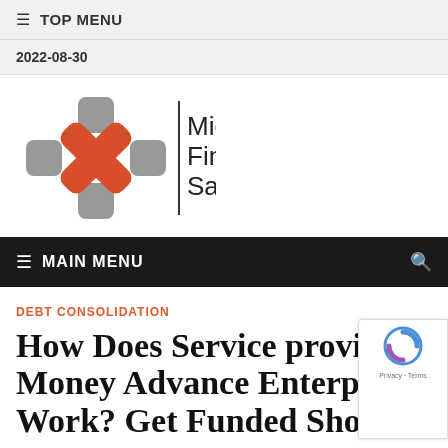≡  TOP MENU
2022-08-30
[Figure (logo): Micro Finance Saving logo with a red X cross shape over grey rounded squares, and a vertical bar followed by the text 'Micro Finance Saving' in large dark font]
≡  MAIN MENU
DEBT CONSOLIDATION
How Does Service provider Money Advance Enterpri Work? Get Funded Shortly